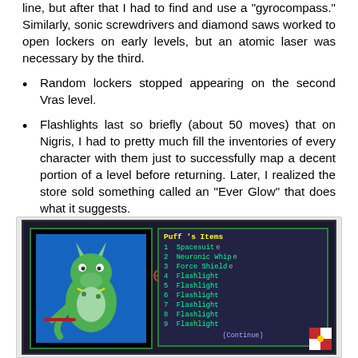line, but after that I had to find and use a "gyrocompass." Similarly, sonic screwdrivers and diamond saws worked to open lockers on early levels, but an atomic laser was necessary by the third.
Random lockers stopped appearing on the second Vras level.
Flashlights last so briefly (about 50 moves) that on Nigris, I had to pretty much fill the inventories of every character with them just to successfully map a decent portion of a level before returning. Later, I realized the store sold something called an "Ever Glow" that does what it suggests.
[Figure (screenshot): Game screenshot showing a character inventory screen. A green dragon character (Puff) is shown on the left with a blue background. On the right is an inventory list titled "Puff 's Items" showing: 1 Spacesuit, 2 Neuronic Whip, 3 Force Shield, 4 Flashlight, 5 Flashlight, 6 Flashlight, 7 Flashlight, 8 Flashlight, 9 Flashlight. Items 1-3 have an 'e' marker. Bottom shows (Continue).]